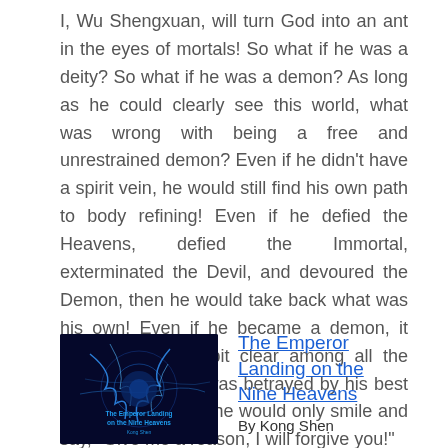I, Wu Shengxuan, will turn God into an ant in the eyes of mortals! So what if he was a deity? So what if he was a demon? As long as he could clearly see this world, what was wrong with being a free and unrestrained demon? Even if he didn't have a spirit vein, he would still find his own path to body refining! Even if he defied the Heavens, defied the Immortal, exterminated the Devil, and devoured the Demon, then he would take back what was his own! Even if he became a demon, it would be a little bit clear among all the devils. Even if he was betrayed by his best brother in the end, he would only smile and say, "Give me a reason, I will forgive you!"
[Figure (illustration): Book cover of 'The Emperor Landing on the Nine Heavens' showing blue lightning/energy effects on dark background with text overlay]
The Emperor Landing on the Nine Heavens
By Kong Shen